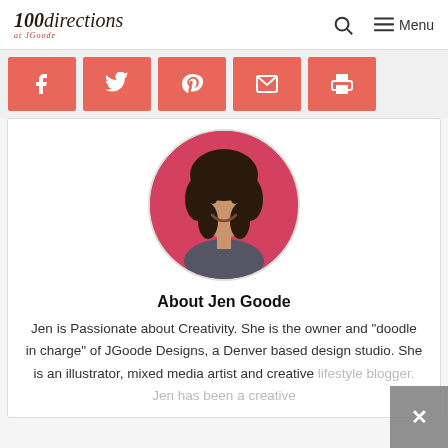100directions at JGoode | Menu
[Figure (illustration): Social share buttons bar with icons for Facebook, Twitter, Pinterest, Email, and Print in salmon/coral red color]
[Figure (photo): Circular profile photo of Jen Goode, a woman with dark curly hair, smiling, against a pink/red background]
About Jen Goode
Jen is Passionate about Creativity. She is the owner and "doodle in charge" of JGoode Designs, a Denver based design studio. She is an illustrator, mixed media artist and creative lifestyle blogger. Jen has been a creative